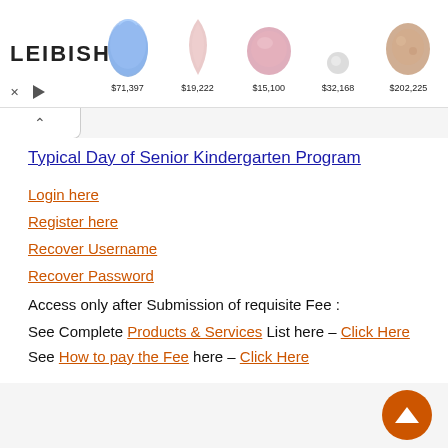[Figure (other): Leibish jewelry/gems advertisement banner showing colored gemstones with prices: $71,397, $19,222, $15,100, $32,168, $202,225]
Typical Day of Senior Kindergarten Program
Login here
Register here
Recover Username
Recover Password
Access only after Submission of requisite Fee :
See Complete Products & Services List here – Click Here
See How to pay the Fee here – Click Here